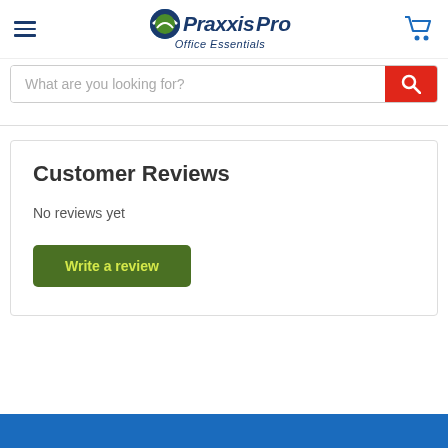PraxxisPro Office Essentials
What are you looking for?
Customer Reviews
No reviews yet
Write a review